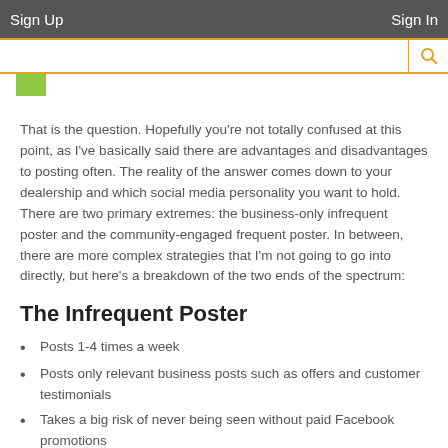Sign Up   Sign In
That is the question. Hopefully you're not totally confused at this point, as I've basically said there are advantages and disadvantages to posting often. The reality of the answer comes down to your dealership and which social media personality you want to hold. There are two primary extremes: the business-only infrequent poster and the community-engaged frequent poster. In between, there are more complex strategies that I'm not going to go into directly, but here's a breakdown of the two ends of the spectrum:
The Infrequent Poster
Posts 1-4 times a week
Posts only relevant business posts such as offers and customer testimonials
Takes a big risk of never being seen without paid Facebook promotions